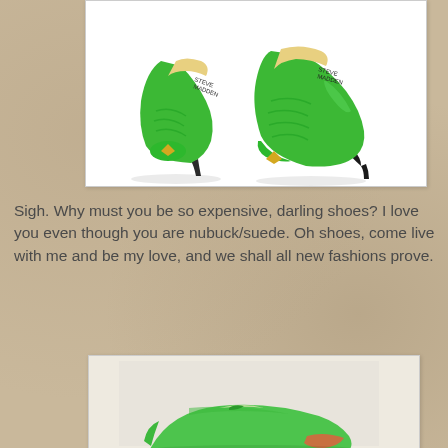[Figure (photo): Green satin kitten-heel peep-toe pumps on white background, a pair of shoes shown side by side]
Sigh. Why must you be so expensive, darling shoes? I love you even though you are nubuck/suede. Oh shoes, come live with me and be my love, and we shall all new fashions prove.
[Figure (photo): Green flat/low-heel shoes on a light grey/white background, partially visible at bottom of page]